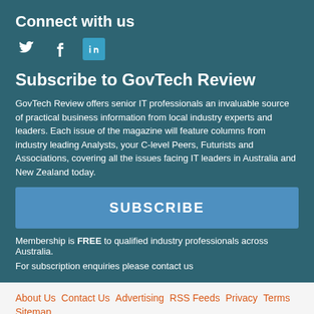Connect with us
[Figure (illustration): Social media icons: Twitter (bird), Facebook (f), LinkedIn (in) with teal background]
Subscribe to GovTech Review
GovTech Review offers senior IT professionals an invaluable source of practical business information from local industry experts and leaders. Each issue of the magazine will feature columns from industry leading Analysts, your C-level Peers, Futurists and Associations, covering all the issues facing IT leaders in Australia and New Zealand today.
SUBSCRIBE
Membership is FREE to qualified industry professionals across Australia.
For subscription enquiries please contact us
About Us   Contact Us   Advertising   RSS Feeds   Privacy   Terms   Sitemap
All content Copyright © 2022 Westwick-Farrow Pty Ltd